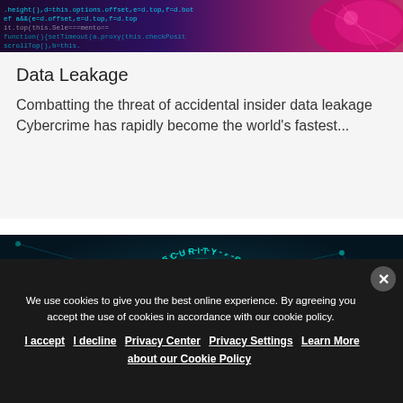[Figure (photo): Top portion of a cybersecurity-themed image showing code and a pink/purple circuit-board style graphic on a dark background]
Data Leakage
Combatting the threat of accidental insider data leakage Cybercrime has rapidly become the world's fastest...
[Figure (photo): Cyber security themed image showing a glowing teal circular badge reading 'CYBER SECURITY' with a hand silhouette and network nodes on a dark blue background]
We use cookies to give you the best online experience. By agreeing you accept the use of cookies in accordance with our cookie policy.
I accept  I decline  Privacy Center  Privacy Settings  Learn More about our Cookie Policy